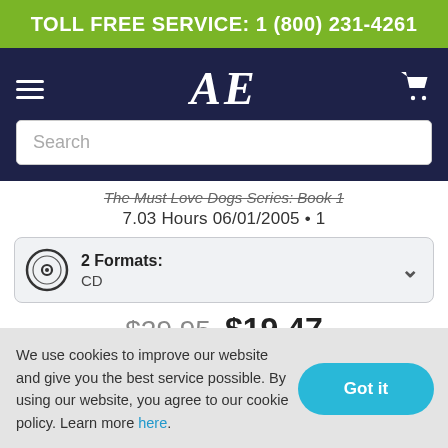TOLL FREE SERVICE: 1 (800) 231-4261
[Figure (logo): AE logo in serif italic white letters on navy background, with hamburger menu icon on left and shopping cart icon on right]
Search
The Must Love Dogs Series: Book 1
7.03 Hours 06/01/2005 • 1
2 Formats: CD
$29.95 $19.47
We use cookies to improve our website and give you the best service possible. By using our website, you agree to our cookie policy. Learn more here.